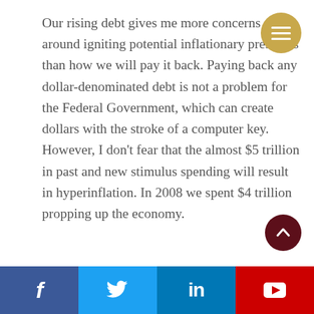Our rising debt gives me more concerns around igniting potential inflationary pressures than how we will pay it back. Paying back any dollar-denominated debt is not a problem for the Federal Government, which can create dollars with the stroke of a computer key. However, I don't fear that the almost $5 trillion in past and new stimulus spending will result in hyperinflation. In 2008 we spent $4 trillion propping up the economy.
f  [Twitter bird]  in  [YouTube play]